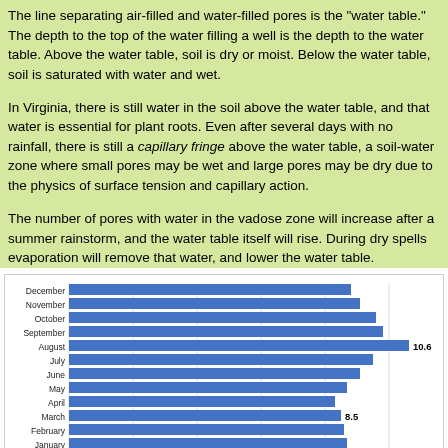The line separating air-filled and water-filled pores is the "water table." The depth to the top of the water filling a well is the depth to the water table. Above the water table, soil is dry or moist. Below the water table, soil is saturated with water and wet.
In Virginia, there is still water in the soil above the water table, and that water is essential for plant roots. Even after several days with no rainfall, there is still a capillary fringe above the water table, a soil-water zone where small pores may be wet and large pores may be dry due to the physics of surface tension and capillary action.
The number of pores with water in the vadose zone will increase after a summer rainstorm, and the water table itself will rise. During dry spells evaporation will remove that water, and lower the water table.
[Figure (bar-chart): Depth to water table by month]
depth to the water table at a site in Prince William County is 8.5 feet in March, but drops to 10.6 in August as plants evapotranspire
Source: US Geological Survey (USGS), Groundwater Watch: Site Number: